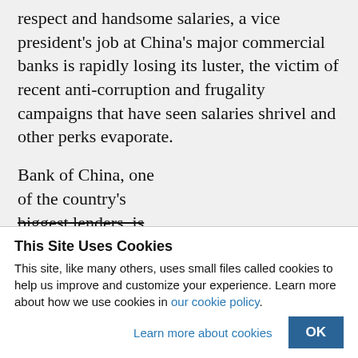respect and handsome salaries, a vice president's job at China's major commercial banks is rapidly losing its luster, the victim of recent anti-corruption and frugality campaigns that have seen salaries shrivel and other perks evaporate.
Bank of China, one of the country's biggest lenders, is
This Site Uses Cookies
This site, like many others, uses small files called cookies to help us improve and customize your experience. Learn more about how we use cookies in our cookie policy.
Learn more about cookies   OK